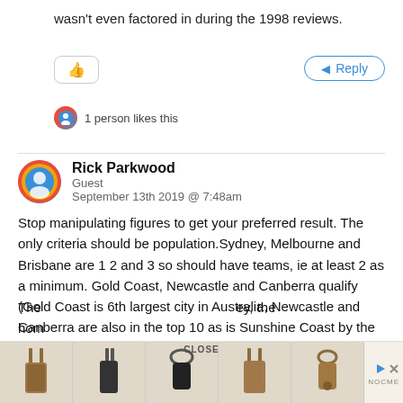wasn't even factored in during the 1998 reviews.
1 person likes this
Rick Parkwood
Guest
September 13th 2019 @ 7:48am
Stop manipulating figures to get your preferred result. The only criteria should be population.Sydney, Melbourne and Brisbane are 1 2 and 3 so should have teams, ie at least 2 as a minimum. Gold Coast, Newcastle and Canberra qualify (Gold Coast is 6th largest city in Australia, Newcastle and Canberra are also in the top 10 as is Sunshine Coast by the way. Wollongong has a team with St.George/Illawarra. New Zealand has no place in an Australian competition. The hom
[Figure (screenshot): Advertisement bar at the bottom with product images (leather pouches/keychains) and CLOSE label, with play and close icons and NOCME branding.]